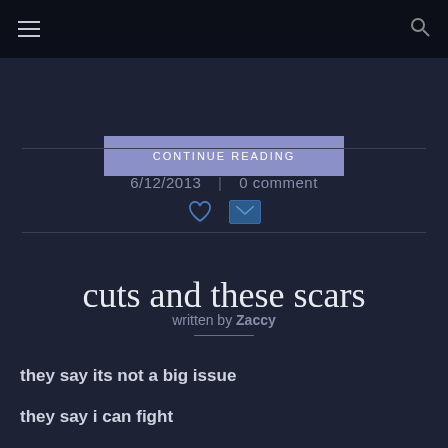≡  🔍
CONTINUE READING
6/12/2013  |  0 comment
cuts and these scars
written by Zaccy
they say its not a big issue
they say i can fight